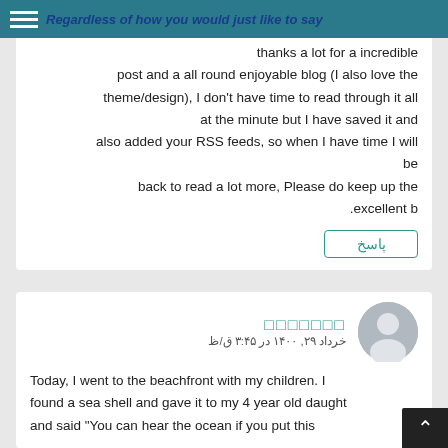Regardless of how you would just like to say
Regardless of how you would just like to say thanks a lot for a incredible post and a all round enjoyable blog (I also love the theme/design), I don't have time to read through it all at the minute but I have saved it and also added your RSS feeds, so when I have time I will be back to read a lot more, Please do keep up the excellent b.
پاسخ
□□□□□□□ · خرداد ۲۹, ۱۴۰۰ در ۳:۴۵ ق/ظ
Today, I went to the beachfront with my children. I found a sea shell and gave it to my 4 year old daughter and said "You can hear the ocean if you put this